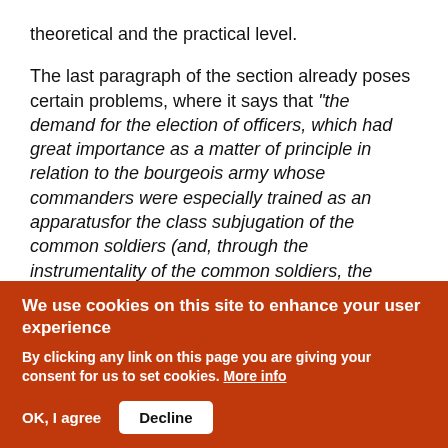theoretical and the practical level.

The last paragraph of the section already poses certain problems, where it says that "the demand for the election of officers, which had great importance as a matter of principle in relation to the bourgeois army whose commanders were especially trained as an apparatusfor the class subjugation of the common soldiers (and, through the instrumentality of the common soldiers, the subjugation of the toiling masses), ceases to
We use cookies on this site to enhance your user experience

By clicking any link on this page you are giving your consent for us to set cookies. More info

OK, I agree | Decline